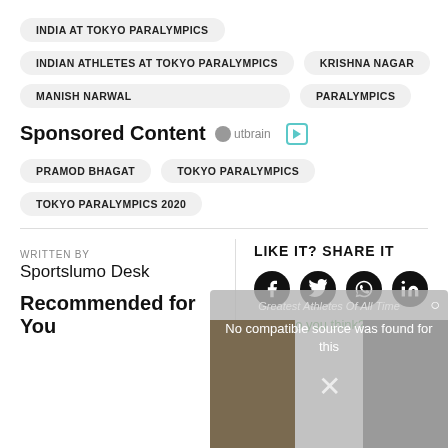INDIA AT TOKYO PARALYMPICS
INDIAN ATHLETES AT TOKYO PARALYMPICS
KRISHNA NAGAR
MANISH NARWAL
PARALYMPICS
Sponsored Content
PRAMOD BHAGAT
TOKYO PARALYMPICS
TOKYO PARALYMPICS 2020
LIKE IT? SHARE IT
What do you think? Tell us
WRITTEN BY
Sportslumo Desk
Recommended for You
No compatible source was found for this
Recommended by Outbrain